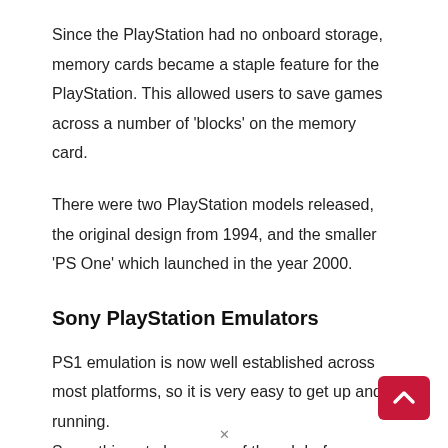Since the PlayStation had no onboard storage, memory cards became a staple feature for the PlayStation. This allowed users to save games across a number of ‘blocks’ on the memory card.
There were two PlayStation models released, the original design from 1994, and the smaller ‘PS One’ which launched in the year 2000.
Sony PlayStation Emulators
PS1 emulation is now well established across most platforms, so it is very easy to get up and running. Some things to be aware of though before you st…